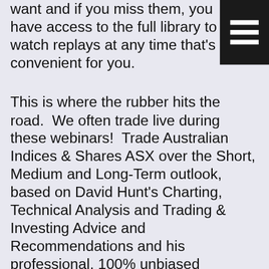want and if you miss them, you have access to the full library to watch replays at any time that's convenient for you.
[Figure (other): Hamburger menu icon — three white horizontal bars on black square background]
This is where the rubber hits the road.  We often trade live during these webinars!  Trade Australian Indices & Shares ASX over the Short, Medium and Long-Term outlook, based on David Hunt's Charting, Technical Analysis and Trading & Investing Advice and Recommendations and his professional, 100% unbiased investing and trading
Cookies: To make this site work properly, we sometimes place small data files called cookies on your device. Most big websites do this too.
Accept     Read more
osses
[Figure (other): reCAPTCHA widget with spinning arrows icon and Privacy · Terms text]
Provides support in times of trouble